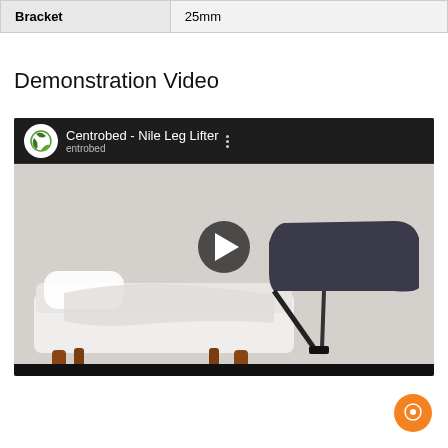| Bracket | 25mm |
| --- | --- |
| Bracket | 25mm |
Demonstration Video
[Figure (screenshot): YouTube video thumbnail showing Centrobed - Nile Leg Lifter product demonstration. Shows a bed with a leg lifter attachment. Video player with play button in center.]